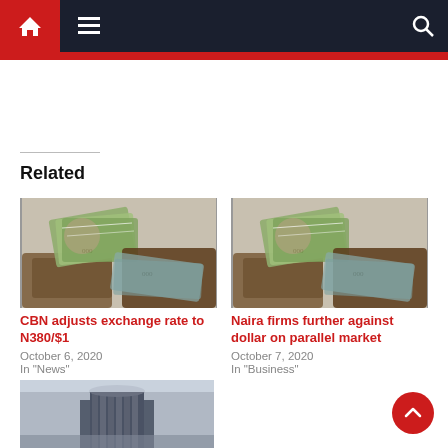Navigation bar with home, menu, and search icons
Related
[Figure (photo): Hands exchanging US dollar bills and Nigerian naira banknotes]
CBN adjusts exchange rate to N380/$1
October 6, 2020
In "News"
[Figure (photo): Hands exchanging US dollar bills and Nigerian naira banknotes]
Naira firms further against dollar on parallel market
October 7, 2020
In "Business"
[Figure (photo): CBN Central Bank of Nigeria building exterior, partial view]